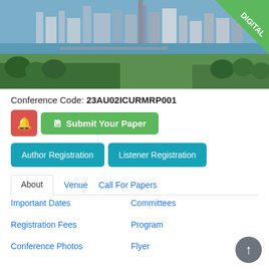[Figure (photo): Aerial view of Melbourne city skyline with river, parklands and skyscrapers, with a green 'DIGITAL' triangle badge in the top-right corner]
Conference Code: 23AU02ICURMRP001
Submit Your Paper
Author Registration
Listener Registration
About
Venue
Call For Papers
Important Dates
Committees
Registration Fees
Program
Conference Photos
Flyer